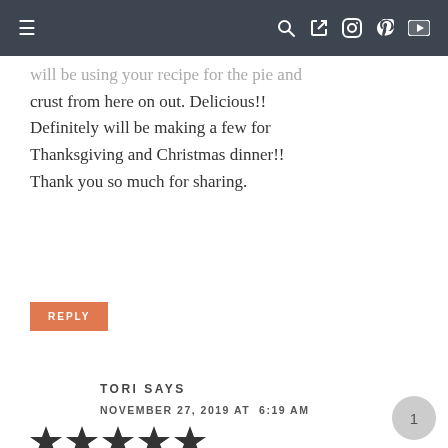≡  🔍 f 📷 𝗣 ▶
will be using your recipe for the pie and crust from here on out. Delicious!! Definitely will be making a few for Thanksgiving and Christmas dinner!! Thank you so much for sharing.
REPLY
TORI SAYS
NOVEMBER 27, 2019 AT  6:19 AM
[Figure (other): Five filled star rating icons]
Hi Rosie,